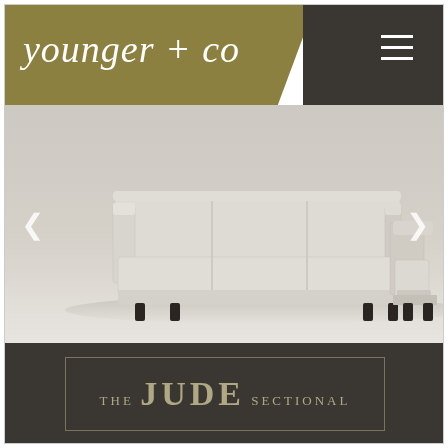younger + co
[Figure (photo): A light beige/cream upholstered sectional sofa with chaise on the right side, displayed against a light gray background. The sofa has three seat cushions, high back, and dark tapered legs.]
THE JUDE SECTIONAL